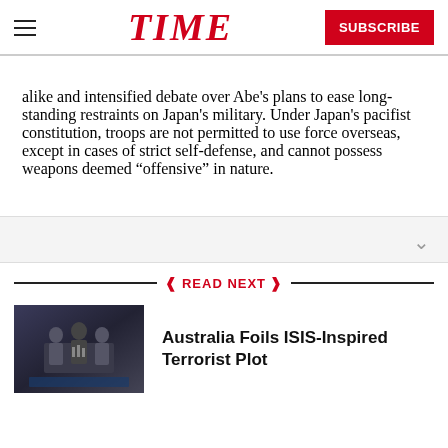TIME | SUBSCRIBE
alike and intensified debate over Abe’s plans to ease long-standing restraints on Japan’s military. Under Japan’s pacifist constitution, troops are not permitted to use force overseas, except in cases of strict self-defense, and cannot possess weapons deemed “offensive” in nature.
READ NEXT
[Figure (photo): Thumbnail photo of a press conference, dark background with figures standing at a podium]
Australia Foils ISIS-Inspired Terrorist Plot